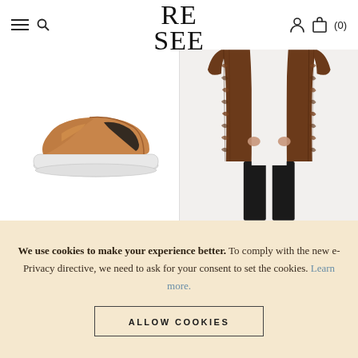RE SEE — navigation header with hamburger menu, search, logo, user icon, bag icon (0)
[Figure (photo): Tan/camel leather slip-on sneaker with white platform sole and black elastic side gusset, on white background]
[Figure (photo): Person wearing a long brown fur coat (full length) with black trousers, shown from neck to ankles on light background]
We use cookies to make your experience better. To comply with the new e-Privacy directive, we need to ask for your consent to set the cookies. Learn more.
ALLOW COOKIES